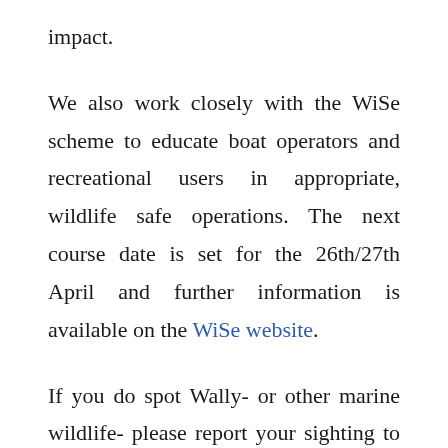impact.
We also work closely with the WiSe scheme to educate boat operators and recreational users in appropriate, wildlife safe operations. The next course date is set for the 26th/27th April and further information is available on the WiSe website.
If you do spot Wally- or other marine wildlife- please report your sighting to the Sea Watch